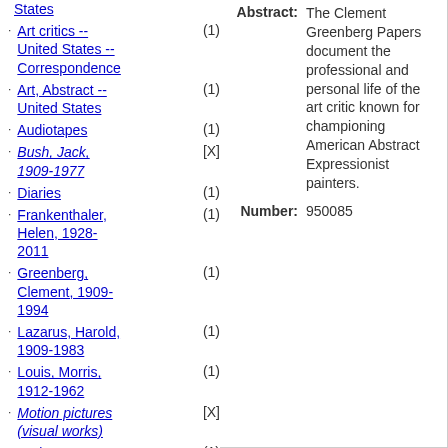States
Art critics -- United States -- Correspondence (1)
Art, Abstract -- United States (1)
Audiotapes (1)
Bush, Jack, 1909-1977 [X]
Diaries (1)
Frankenthaler, Helen, 1928-2011 (1)
Greenberg, Clement, 1909-1994 (1)
Lazarus, Harold, 1909-1983 (1)
Louis, Morris, 1912-1962 (1)
Motion pictures (visual works) [X]
Nation (1)
Noland, Kenneth, 1924-2010 (1)
Partisan Review (1)
Photographic (1)
Abstract: The Clement Greenberg Papers document the professional and personal life of the art critic known for championing American Abstract Expressionist painters.
Number: 950085